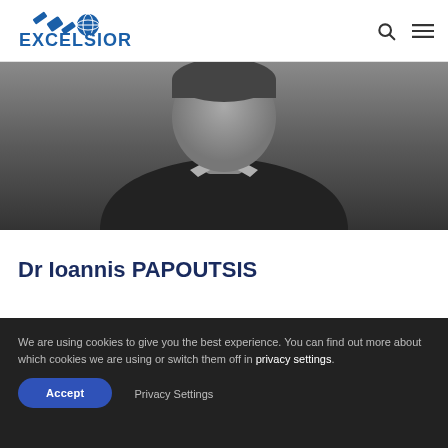[Figure (logo): Excelsior logo with satellite and globe icon in blue]
[Figure (photo): Black and white cropped photo of a man in a dark jacket, showing neck and shoulders]
Dr Ioannis PAPOUTSIS
We are using cookies to give you the best experience. You can find out more about which cookies we are using or switch them off in privacy settings.
Accept    Privacy Settings